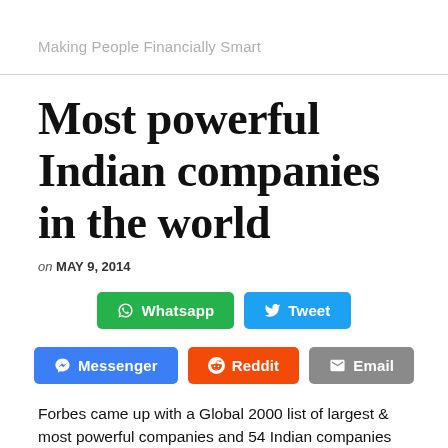Making People Financially Smart
Most powerful Indian companies in the world
on MAY 9, 2014
[Figure (infographic): Social share buttons: Whatsapp, Tweet, Messenger, Reddit, Email]
Forbes came up with a Global 2000 list of largest & most powerful companies and 54 Indian companies found a placing in